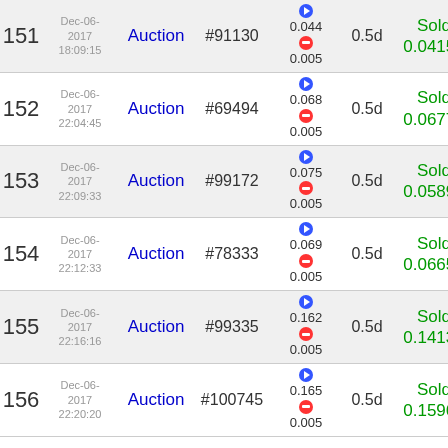| # | Date | Type | ID | Price | Duration | Result |
| --- | --- | --- | --- | --- | --- | --- |
| 151 | Dec-06-2017 18:09:15 | Auction | #91130 | 0.044 / 0.005 | 0.5d | Sold 0.04152 |
| 152 | Dec-06-2017 22:04:45 | Auction | #69494 | 0.068 / 0.005 | 0.5d | Sold 0.06778 |
| 153 | Dec-06-2017 22:09:33 | Auction | #99172 | 0.075 / 0.005 | 0.5d | Sold 0.05898 |
| 154 | Dec-06-2017 22:12:33 | Auction | #78333 | 0.069 / 0.005 | 0.5d | Sold 0.06656 |
| 155 | Dec-06-2017 22:16:16 | Auction | #99335 | 0.162 / 0.005 | 0.5d | Sold 0.14137 |
| 156 | Dec-06-2017 22:20:20 | Auction | #100745 | 0.165 / 0.005 | 0.5d | Sold 0.15964 |